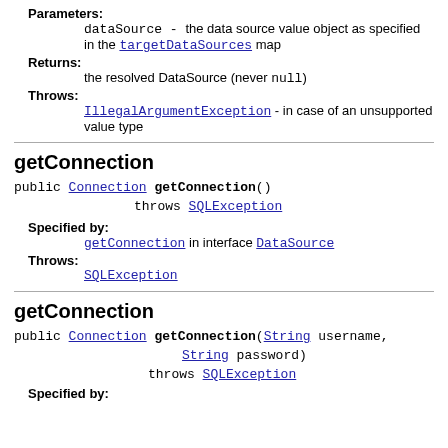Parameters: dataSource - the data source value object as specified in the targetDataSources map
Returns: the resolved DataSource (never null)
Throws: IllegalArgumentException - in case of an unsupported value type
getConnection
public Connection getConnection() throws SQLException
Specified by: getConnection in interface DataSource
Throws: SQLException
getConnection
public Connection getConnection(String username, String password) throws SQLException
Specified by: